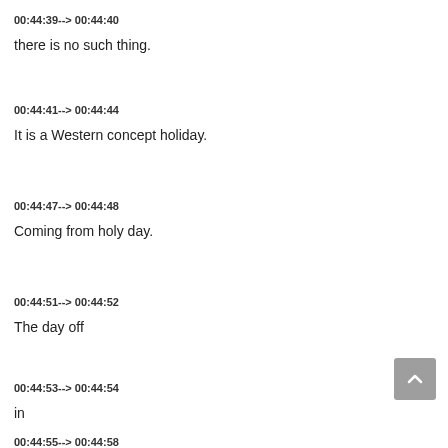00:44:39--> 00:44:40
there is no such thing.
00:44:41--> 00:44:44
It is a Western concept holiday.
00:44:47--> 00:44:48
Coming from holy day.
00:44:51--> 00:44:52
The day off
00:44:53--> 00:44:54
in
00:44:55--> 00:44:58